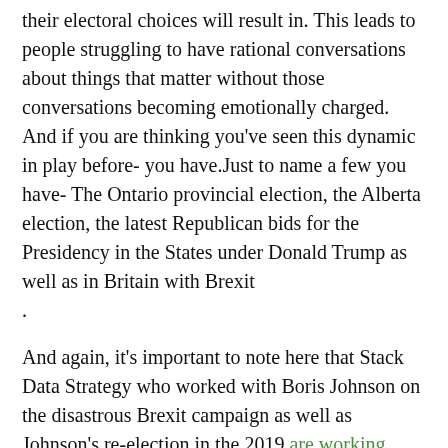their electoral choices will result in. This leads to people struggling to have rational conversations about things that matter without those conversations becoming emotionally charged. And if you are thinking you've seen this dynamic in play before- you have.Just to name a few you have- The Ontario provincial election, the Alberta election, the latest Republican bids for the Presidency in the States under Donald Trump as well as in Britain with Brexit .
And again, it's important to note here that Stack Data Strategy who worked with Boris Johnson on the disastrous Brexit campaign as well as Johnson's re-election in the 2019 are working with Erin O'Toole currently on the Conservative election bid. The blueprint here of using misinformation and inflaming the worst in a base- that's precisely what got England into the debacle that is Brexit.